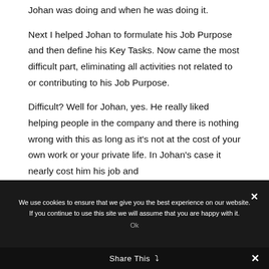Johan was doing and when he was doing it.
Next I helped Johan to formulate his Job Purpose and then define his Key Tasks. Now came the most difficult part, eliminating all activities not related to or contributing to his Job Purpose.
Difficult? Well for Johan, yes. He really liked helping people in the company and there is nothing wrong with this as long as it's not at the cost of your own work or your private life. In Johan's case it nearly cost him his job and
We use cookies to ensure that we give you the best experience on our website. If you continue to use this site we will assume that you are happy with it.
Ok
Share This ∨